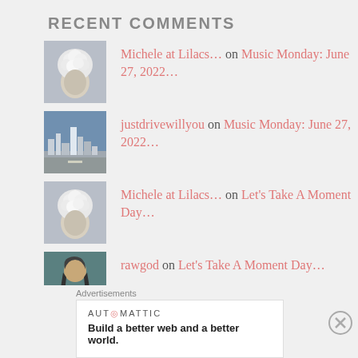RECENT COMMENTS
Michele at Lilacs… on Music Monday: June 27, 2022…
justdrivewillyou on Music Monday: June 27, 2022…
Michele at Lilacs… on Let's Take A Moment Day…
rawgod on Let's Take A Moment Day…
Michele at Lilacs… on Let's Take A Moment Day…
Advertisements
AUTOMATTIC
Build a better web and a better world.